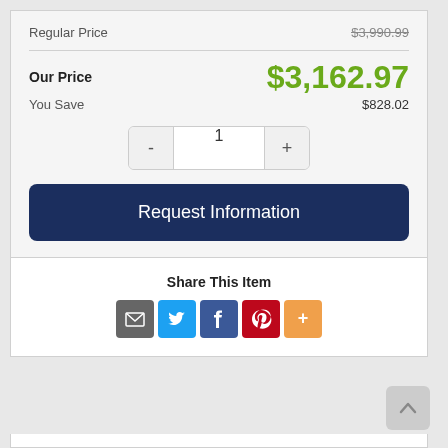Regular Price  $3,990.99
Our Price  $3,162.97
You Save  $828.02
1
Request Information
Share This Item
[Figure (other): Social share icons: email, Twitter, Facebook, Pinterest, more]